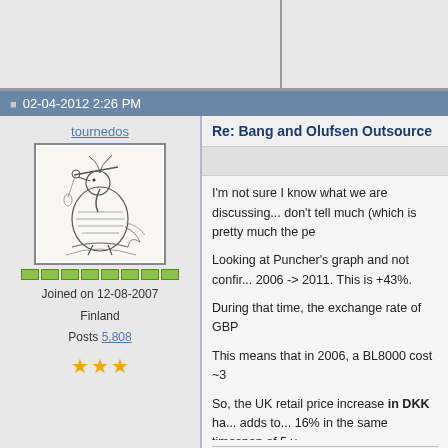02-04-2012 2:26 PM
tournedos
[Figure (illustration): Avatar image of a stylized bird/crane figure playing a flute, drawn in black and white sketch style]
Joined on 12-08-2007
Finland
Posts 5,808
Re: Bang and Olufsen Outsource
I'm not sure I know what we are discussing... don't tell much (which is pretty much the pe

Looking at Puncher's graph and not confir... 2006 -> 2011. This is +43%.

During that time, the exchange rate of GBP...

This means that in 2006, a BL8000 cost ~3...

So, the UK retail price increase in DKK ha... adds to... 16% in the same timespan of 5 y...

You got really cheap BL8000s back in 200...
-mika